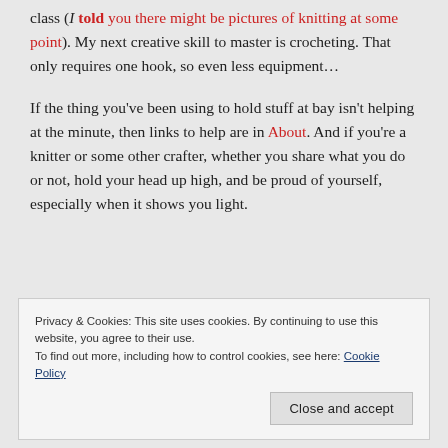class (I told you there might be pictures of knitting at some point). My next creative skill to master is crocheting. That only requires one hook, so even less equipment…
If the thing you've been using to hold stuff at bay isn't helping at the minute, then links to help are in About. And if you're a knitter or some other crafter, whether you share what you do or not, hold your head up high, and be proud of yourself, especially when it shows you light.
Privacy & Cookies: This site uses cookies. By continuing to use this website, you agree to their use. To find out more, including how to control cookies, see here: Cookie Policy